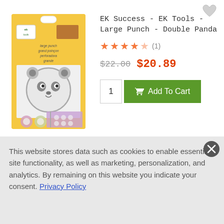[Figure (photo): Product packaging for EK Success EK Tools Large Punch Double Panda showing a panda face punch tool and sample punched shapes on a yellow background]
EK Success - EK Tools - Large Punch - Double Panda
★★★★☆ (1)
$22.00  $20.89
1  Add To Cart
EK Success - EK Tools -
This website stores data such as cookies to enable essential site functionality, as well as marketing, personalization, and analytics. By remaining on this website you indicate your consent. Privacy Policy